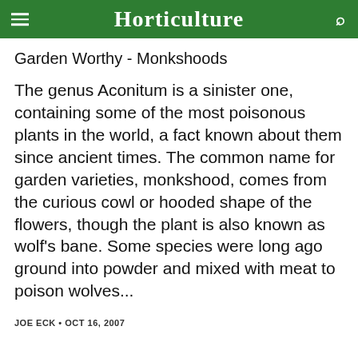Horticulture
Garden Worthy - Monkshoods
The genus Aconitum is a sinister one, containing some of the most poisonous plants in the world, a fact known about them since ancient times. The common name for garden varieties, monkshood, comes from the curious cowl or hooded shape of the flowers, though the plant is also known as wolf's bane. Some species were long ago ground into powder and mixed with meat to poison wolves...
JOE ECK • OCT 16, 2007